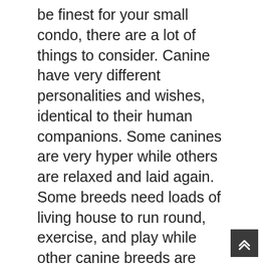be finest for your small condo, there are a lot of things to consider. Canine have very different personalities and wishes, identical to their human companions. Some canines are very hyper while others are relaxed and laid again. Some breeds need loads of living house to run round, exercise, and play while other canine breeds are perfectly content living in small areas. Other than the needs of every breed of dog, there are other issues to consider as well before choosing your excellent apartment canine companion.
[Figure (other): A dark grey square button with a double upward chevron arrow icon, positioned at the bottom-right corner of the page.]